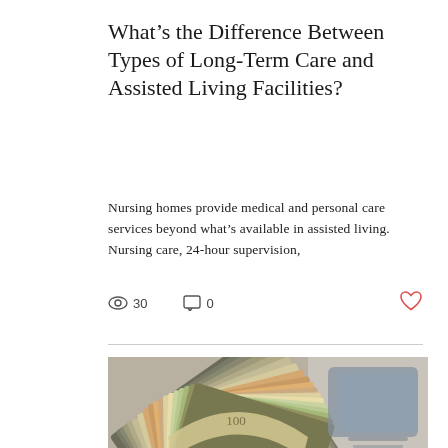What's the Difference Between Types of Long-Term Care and Assisted Living Facilities?
Nursing homes provide medical and personal care services beyond what's available in assisted living. Nursing care, 24-hour supervision,
[Figure (photo): Close-up photo of a rolled/fanned stack of US dollar bills (currency), showing the edges of many banknotes fanned out, with more bills scattered in the background.]